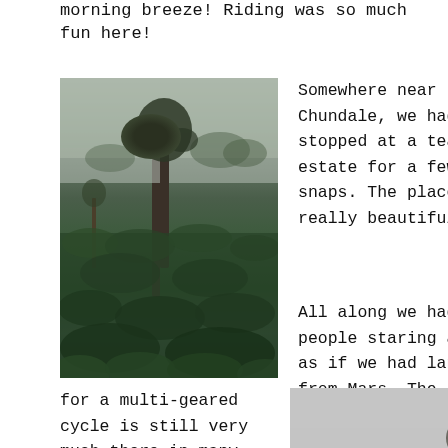morning breeze! Riding was so much fun here!
[Figure (photo): Misty tea estate with a tall tree in the foreground, green tea bushes covering the ground, foggy hills in the background.]
Somewhere near Chundale, we had stopped at a tea estate for a few snaps. The place was really beautiful.
All along we had people staring at us as if we had landed from Mars. The fascination
for a multi-geared cycle is still very much there in many parts of the
[Figure (photo): Misty foggy landscape with trees visible through the haze, grey sky.]